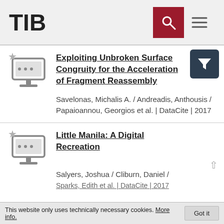TIB
Exploiting Unbroken Surface Congruity for the Acceleration of Fragment Reassembly
Savelonas, Michalis A. / Andreadis, Anthousis / Papaioannou, Georgios et al. | DataCite | 2017
Little Manila: A Digital Recreation
Salyers, Joshua / Cliburn, Daniel / Sparks, Edith et al. | DataCite | 2017
This website only uses technically necessary cookies. More info. Got it